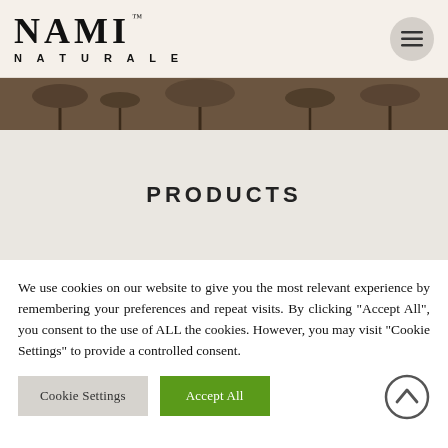NAMI™ NATURALE
[Figure (photo): Partial nature/tree image strip banner]
PRODUCTS
We use cookies on our website to give you the most relevant experience by remembering your preferences and repeat visits. By clicking "Accept All", you consent to the use of ALL the cookies. However, you may visit "Cookie Settings" to provide a controlled consent.